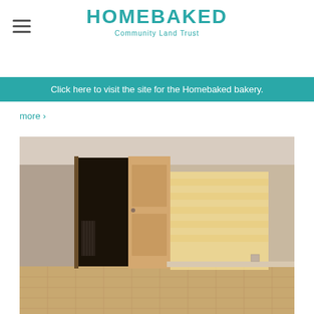HOMEBAKED Community Land Trust
Click here to visit the site for the Homebaked bakery.
more ›
[Figure (photo): Interior room photo showing an empty room with a wooden door, light wood parquet floor, plain walls, and sunlight casting a bright rectangle on the far wall.]